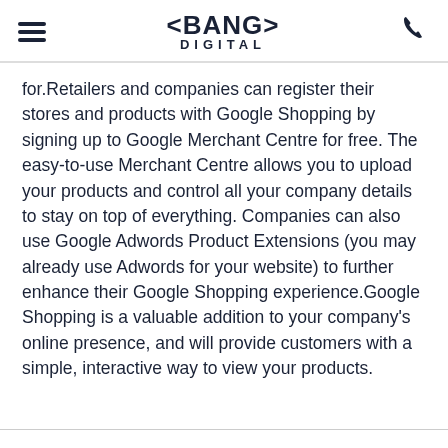< BANG > DIGITAL
for.Retailers and companies can register their stores and products with Google Shopping by signing up to Google Merchant Centre for free. The easy-to-use Merchant Centre allows you to upload your products and control all your company details to stay on top of everything. Companies can also use Google Adwords Product Extensions (you may already use Adwords for your website) to further enhance their Google Shopping experience.Google Shopping is a valuable addition to your company's online presence, and will provide customers with a simple, interactive way to view your products.